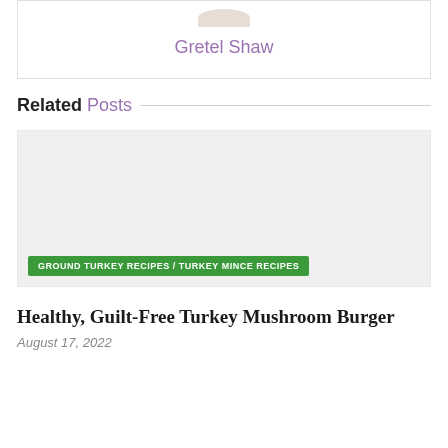Gretel Shaw
Related Posts
[Figure (photo): Placeholder image for a related post about turkey mushroom burger]
GROUND TURKEY RECIPES / TURKEY MINCE RECIPES
Healthy, Guilt-Free Turkey Mushroom Burger
August 17, 2022